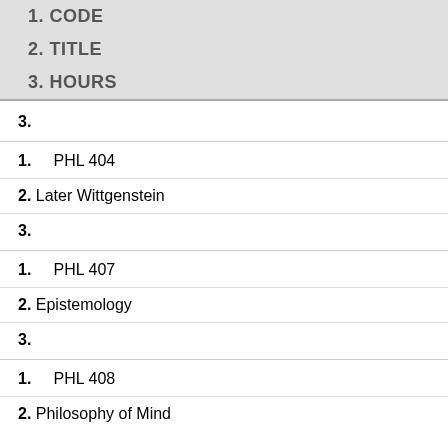| 1. CODE | 2. TITLE | 3. HOURS |
| --- | --- | --- |
| 3. |  |  |
| 1.	PHL 404 | 2. Later Wittgenstein | 3. |
| 1.	PHL 407 | 2. Epistemology | 3. |
| 1.	PHL 408 | 2. Philosophy of Mind |  |